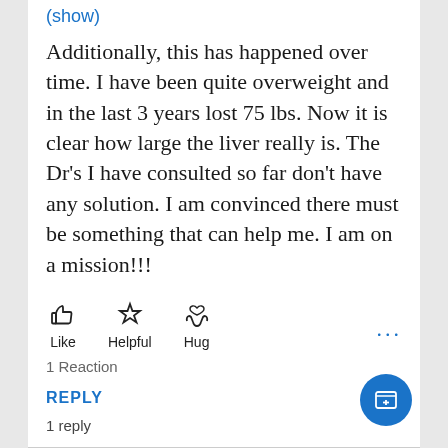(show)
Additionally, this has happened over time. I have been quite overweight and in the last 3 years lost 75 lbs. Now it is clear how large the liver really is. The Dr's I have consulted so far don't have any solution. I am convinced there must be something that can help me. I am on a mission!!!
[Figure (infographic): Three reaction buttons: Like (thumbs up icon), Helpful (star icon), Hug (hands with heart icon), and a more options (three dots) button on the right.]
1 Reaction
REPLY
1 reply